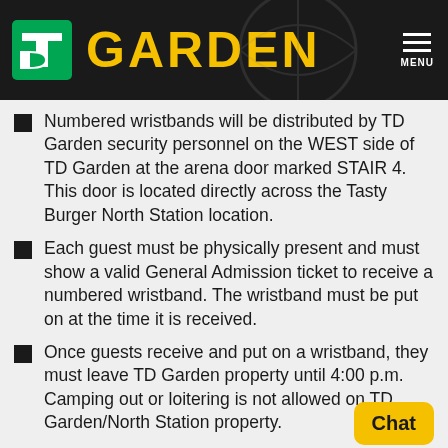TD GARDEN
Numbered wristbands will be distributed by TD Garden security personnel on the WEST side of TD Garden at the arena door marked STAIR 4. This door is located directly across the Tasty Burger North Station location.
Each guest must be physically present and must show a valid General Admission ticket to receive a numbered wristband. The wristband must be put on at the time it is received.
Once guests receive and put on a wristband, they must leave TD Garden property until 4:00 p.m. Camping out or loitering is not allowed on TD Garden/North Station property.
Guests will be able to line themselves up in order based on their wristband number